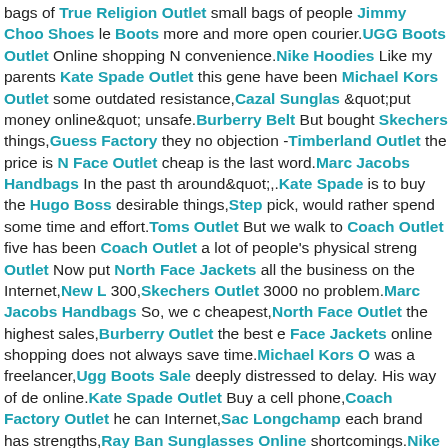bags of True Religion Outlet small bags of people Jimmy Choo Shoes le Boots more and more open courier.UGG Boots Outlet Online shopping N convenience.Nike Hoodies Like my parents Kate Spade Outlet this gene have been Michael Kors Outlet some outdated resistance,Cazal Sunglas &quot;put money online&quot; unsafe.Burberry Belt But bought Skechers things,Guess Factory they no objection -Timberland Outlet the price is N Face Outlet cheap is the last word.Marc Jacobs Handbags In the past th around&quot;,.Kate Spade is to buy the Hugo Boss desirable things,Step pick, would rather spend some time and effort.Toms Outlet But we walk to Coach Outlet five has been Coach Outlet a lot of people's physical streng Outlet Now put North Face Jackets all the business on the Internet,New L 300,Skechers Outlet 3000 no problem.Marc Jacobs Handbags So, we c cheapest,North Face Outlet the highest sales,Burberry Outlet the best e Face Jackets online shopping does not always save time.Michael Kors O was a freelancer,Ugg Boots Sale deeply distressed to delay. His way of de online.Kate Spade Outlet Buy a cell phone,Coach Factory Outlet he can Internet,Sac Longchamp each brand has strengths,Ray Ban Sunglasses Online shortcomings.Nike Air Max Pas Cher He read good Skechers Ou a little heart,Salvatore Ferragamo and then look at Salomon Shoes the c heads,Valentino Shoes tangled a Chan Luu hundred Louis Vuitton thou Not only buy a mobile phone,Coach Outlet even in the online to Toms Ou Jordans Different sites,Adidas Yeezy the price level,Air Max 90 delivery s occasionally Adidas NMD how much reduction in Coach Purses the numb